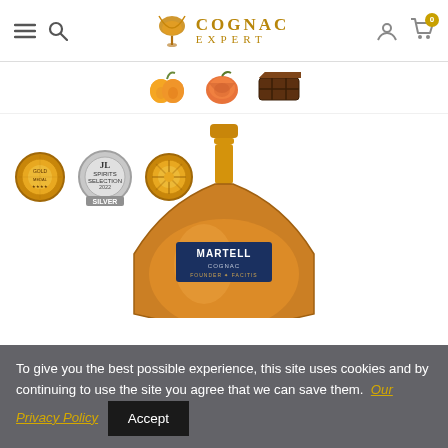Cognac Expert — site header with navigation, logo, account and cart icons
[Figure (illustration): Row of flavor/ingredient icons: apricot halves, peach/nectarine slice, chocolate piece]
[Figure (illustration): Three award medals: two gold medals and one silver (Spirits Selection 2022 Silver) medal]
[Figure (photo): Martell Cognac bottle — tall cognac bottle with amber/orange liquid, gold cap and neck, blue label reading MARTELL COGNAC]
To give you the best possible experience, this site uses cookies and by continuing to use the site you agree that we can save them. Our Privacy Policy  Accept